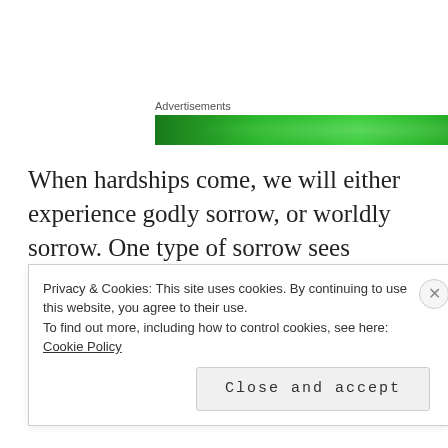[Figure (other): Green advertisement banner with text 'Advertisements' label above it]
When hardships come, we will either experience godly sorrow, or worldly sorrow. One type of sorrow sees hardship as an opportunity to lean on God and grow, and the other sees it as a life-ender; that was me in parts 1, 2, and 3.
Privacy & Cookies: This site uses cookies. By continuing to use this website, you agree to their use.
To find out more, including how to control cookies, see here:
Cookie Policy

Close and accept